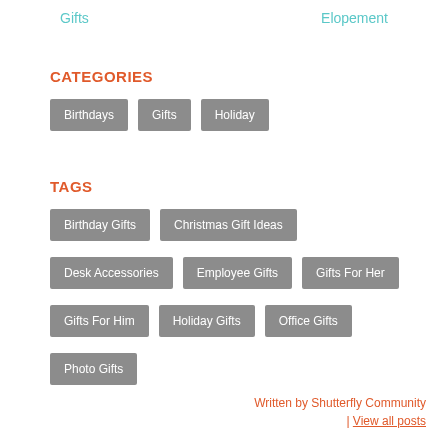Gifts   Elopement
CATEGORIES
Birthdays
Gifts
Holiday
TAGS
Birthday Gifts
Christmas Gift Ideas
Desk Accessories
Employee Gifts
Gifts For Her
Gifts For Him
Holiday Gifts
Office Gifts
Photo Gifts
Written by Shutterfly Community | View all posts